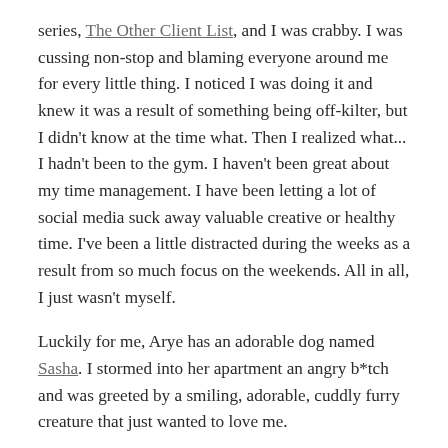series, The Other Client List, and I was crabby. I was cussing non-stop and blaming everyone around me for every little thing. I noticed I was doing it and knew it was a result of something being off-kilter, but I didn't know at the time what. Then I realized what... I hadn't been to the gym. I haven't been great about my time management. I have been letting a lot of social media suck away valuable creative or healthy time. I've been a little distracted during the weeks as a result from so much focus on the weekends. All in all, I just wasn't myself.
Luckily for me, Arye has an adorable dog named Sasha. I stormed into her apartment an angry b*tch and was greeted by a smiling, adorable, cuddly furry creature that just wanted to love me.
I got down on the ground immediately and...